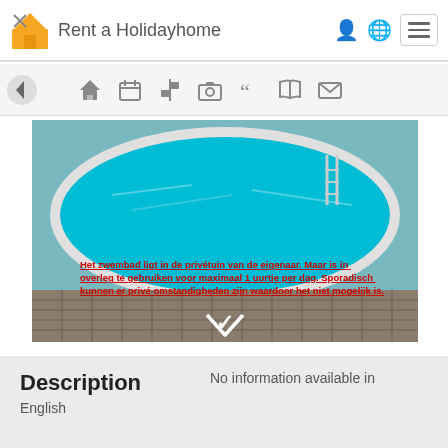Rent a Holidayhome
[Figure (screenshot): Navigation icon bar with back arrow and menu icons (home, calendar, signpost, camera, quote, book, mail)]
[Figure (photo): Aerial photo of an oval swimming pool with clear turquoise water. Overlaid red underlined text in Dutch: 'Het zwembad ligt in de privétuin van de eigenaar. Maar is in overleg te gebruiken voor maximaal 1 uurtje per dag. Sporadisch kunnen er privé omstandigheden zijn waardoor het niet mogelijk is.' A white chevron-down arrow is visible at the bottom center.]
Description
No information available in
English